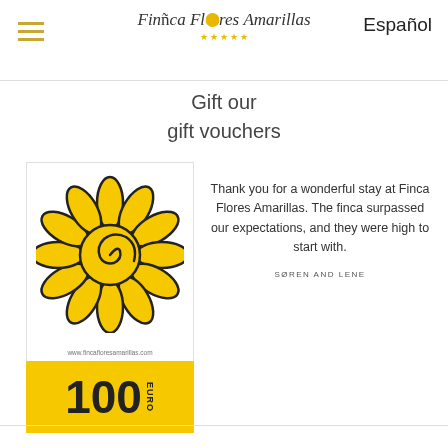Finca Flores Amarillas — Español
Gift our
gift vouchers
[Figure (illustration): Gift voucher card with yellow sunflower logo illustration, website URL www.fincafloresamarillas.com, and yellow band showing '100 EURO']
Thank you for a wonderful stay at Finca Flores Amarillas. The finca surpassed our expectations, and they were high to start with.
SØREN AND LENE